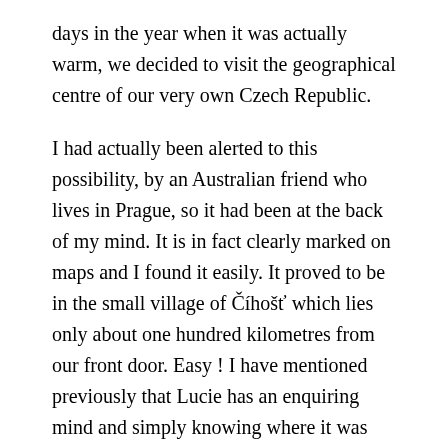days in the year when it was actually warm, we decided to visit the geographical centre of our very own Czech Republic.

I had actually been alerted to this possibility, by an Australian friend who lives in Prague, so it had been at the back of my mind. It is in fact clearly marked on maps and I found it easily. It proved to be in the small village of Číhošť which lies only about one hundred kilometres from our front door. Easy ! I have mentioned previously that Lucie has an enquiring mind and simply knowing where it was was not enough for her. When she began to research this herself, she quickly discovered that the Czech Republic is also the home of one of the several presumed points that represent the very central point of the European continent – and also one that claimed to be the